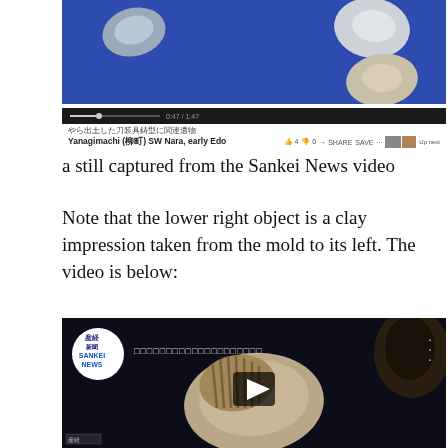[Figure (screenshot): Top portion of a YouTube video screenshot showing archaeological artifacts (clay molds/impressions) on a blue background, with YouTube player controls and info bar showing 'Yanagimachi (柳町) SW Nara, early Edo' and Japanese text]
a still captured from the Sankei News video
Note that the lower right object is a clay impression taken from the mold to its left. The video is below:
[Figure (screenshot): Sankei News YouTube video embed showing a clay artifact/mold photographed on dark background, with Sankei News logo, Japanese title text, play button, and three-dots menu]